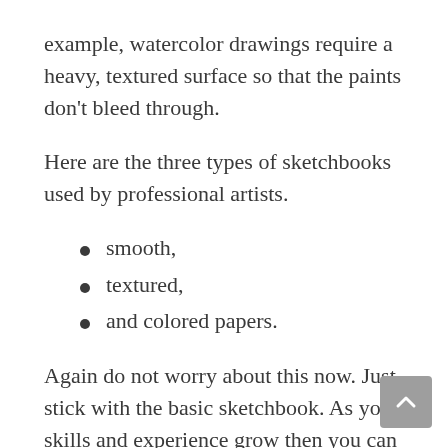example, watercolor drawings require a heavy, textured surface so that the paints don't bleed through.
Here are the three types of sketchbooks used by professional artists.
smooth,
textured,
and colored papers.
Again do not worry about this now. Just stick with the basic sketchbook. As your skills and experience grow then you can purchase the other sketchbooks.